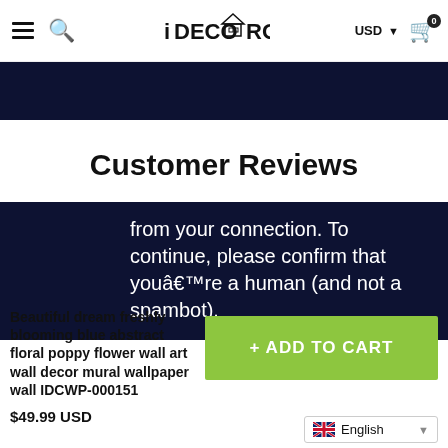iDECOROOM — USD — Cart (0)
[Figure (other): Dark navy banner strip at top of page]
Customer Reviews
from your connection. To continue, please confirm that youâ€™re a human (and not a spambot).
Beautiful dream freshly blooming blue abstract floral poppy flower wall art wall decor mural wallpaper wall IDCWP-000151
+ ADD TO CART
$49.99 USD
English